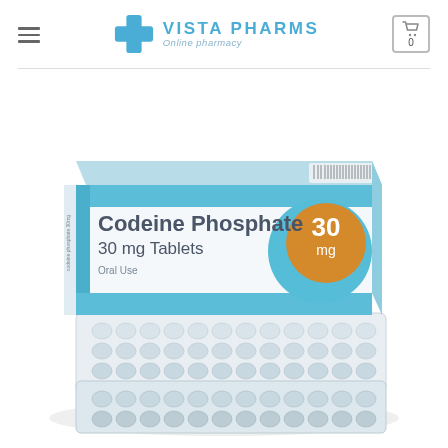Vista Pharms — Online pharmacy
[Figure (photo): Codeine Phosphate 30mg Tablets product box with blister packs of white tablets in front. Box is white and light blue with an orange circle showing '30 mg'. Text on box: Codeine Phosphate, 30 mg Tablets, Oral Use.]